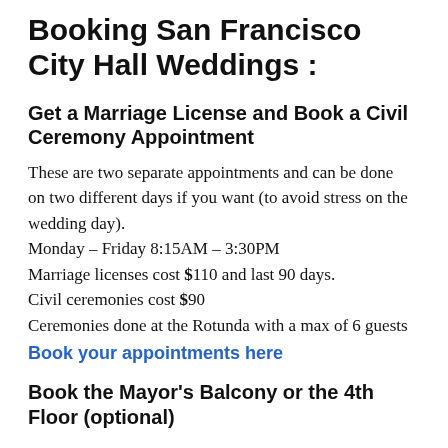Booking San Francisco City Hall Weddings :
Get a Marriage License and Book a Civil Ceremony Appointment
These are two separate appointments and can be done on two different days if you want (to avoid stress on the wedding day).
Monday – Friday 8:15AM – 3:30PM
Marriage licenses cost $110 and last 90 days.
Civil ceremonies cost $90
Ceremonies done at the Rotunda with a max of 6 guests
Book your appointments here
Book the Mayor's Balcony or the 4th Floor (optional)